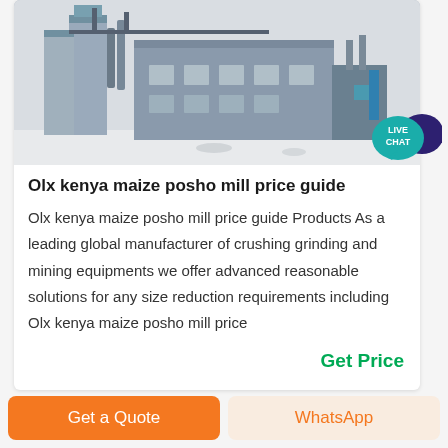[Figure (photo): Industrial facility / factory building with silos and large grey structures, appears to be a milling or manufacturing plant]
Olx kenya maize posho mill price guide
Olx kenya maize posho mill price guide Products As a leading global manufacturer of crushing grinding and mining equipments we offer advanced reasonable solutions for any size reduction requirements including Olx kenya maize posho mill price
Get Price
Get a Quote
WhatsApp